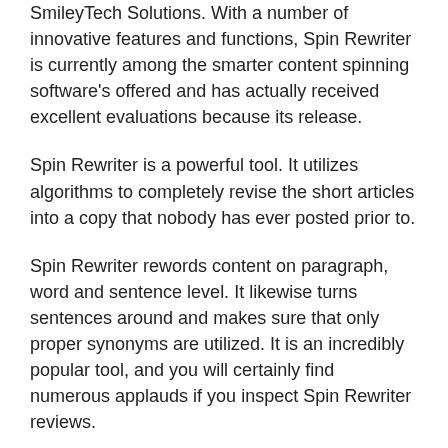SmileyTech Solutions. With a number of innovative features and functions, Spin Rewriter is currently among the smarter content spinning software's offered and has actually received excellent evaluations because its release.
Spin Rewriter is a powerful tool. It utilizes algorithms to completely revise the short articles into a copy that nobody has ever posted prior to.
Spin Rewriter rewords content on paragraph, word and sentence level. It likewise turns sentences around and makes sure that only proper synonyms are utilized. It is an incredibly popular tool, and you will certainly find numerous applauds if you inspect Spin Rewriter reviews.
When registering for trial, you will be asked to put billing details. You will not be billed anything up until 5 days of trial had actually passed. If you are not delighted with the item, just cancel before five